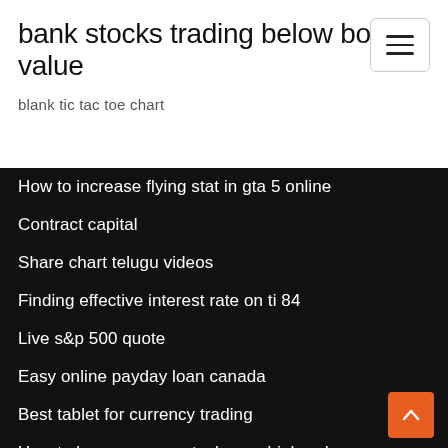bank stocks trading below book value
blank tic tac toe chart
How to increase flying stat in gta 5 online
Contract capital
Share chart telugu videos
Finding effective interest rate on ti 84
Live s&p 500 quote
Easy online payday loan canada
Best tablet for currency trading
How to buy samsung stock on robinhood
Trade forex like a pro pdf